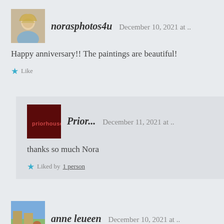norasphotos4u   December 10, 2021 at ..
Happy anniversary!! The paintings are beautiful!
Like
Prior...   December 11, 2021 at ..
thanks so much Nora
Liked by 1 person
anne leueen   December 10, 2021 at ..